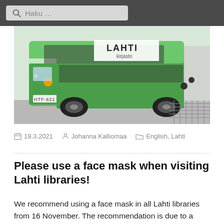Haku ...
[Figure (photo): Green Lahti kirjasto bus viewed from rear-side angle, with license plate HTF-621, parked at a depot]
19.3.2021  Johanna Kalliomaa  English, Lahti
Please use a face mask when visiting Lahti libraries!
We recommend using a face mask in all Lahti libraries from 16 November. The recommendation is due to a change in the corona pandemic situation.